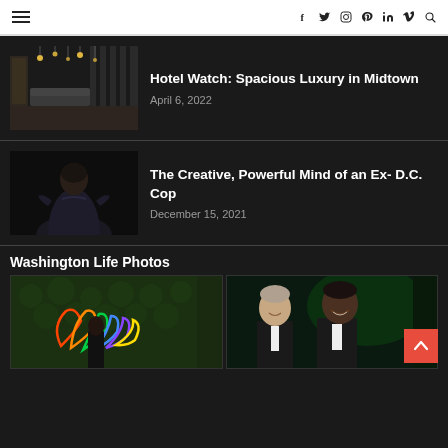Navigation header with hamburger menu and social icons: f (Facebook), Twitter, Instagram, Pinterest, LinkedIn, Vimeo, Search
[Figure (photo): Hotel lobby interior with pendant lights and dark walls — article thumbnail]
Hotel Watch: Spacious Luxury in Midtown
April 6, 2022
[Figure (photo): Person viewed from behind in dark jacket — article thumbnail]
The Creative, Powerful Mind of an Ex- D.C. Cop
December 15, 2021
Washington Life Photos
[Figure (photo): Woman in black dress posing in front of NBC peacock neon sign made of colored lights on green hedge wall]
[Figure (photo): Two men in tuxedos smiling at an event with green lighting in background]